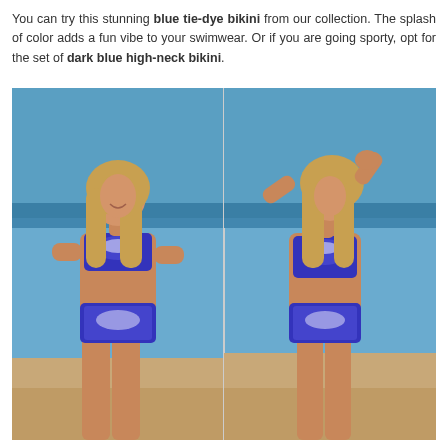You can try this stunning blue tie-dye bikini from our collection. The splash of color adds a fun vibe to your swimwear. Or if you are going sporty, opt for the set of dark blue high-neck bikini.
[Figure (photo): Two side-by-side photos of a blonde woman wearing a blue tie-dye bikini on a beach. Left photo shows a front-facing pose; right photo shows a side/back pose with arms raised.]